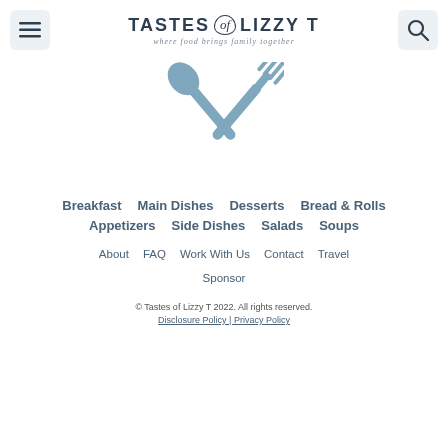TASTES of LIZZY T — where food brings family together
[Figure (illustration): Crossed spoon and fork utensils icon in slate blue color]
Breakfast
Main Dishes
Desserts
Bread & Rolls
Appetizers
Side Dishes
Salads
Soups
About
FAQ
Work With Us
Contact
Travel
Sponsor
© Tastes of Lizzy T 2022. All rights reserved.
Disclosure Policy | Privacy Policy